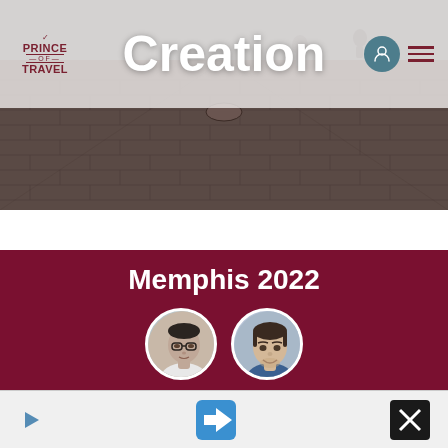Prince of Travel — Creation
[Figure (photo): Outdoor brick/stone plaza or courtyard, top-down perspective with people walking, muted dark tones]
Memphis 2022
[Figure (photo): Two circular profile photos of men, one Asian man in white shirt and one man in blue shirt]
TravelCon 2022: Come Learn About Travel & Content Creation
[Figure (screenshot): Bottom advertisement bar with play button icon, navigation arrow icon, and close/settings icons]